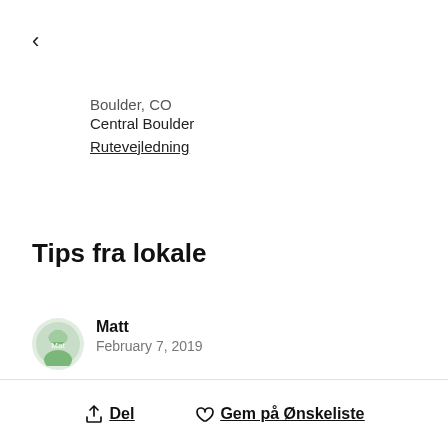<
Boulder, CO
Central Boulder
Rutevejledning
Tips fra lokale
Matt
February 7, 2019
Legendary music venue located on The Hill in Boulder.
Del   Gem på Ønskeliste